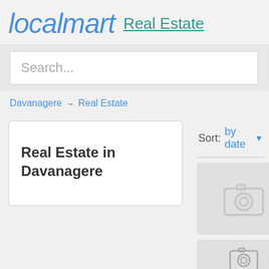localmart Real Estate
Search...
Davanagere → Real Estate
Real Estate in Davanagere
Sort: by date
[Figure (photo): Photo placeholder with camera icon]
[Figure (photo): Photo placeholder with camera icon (partial)]